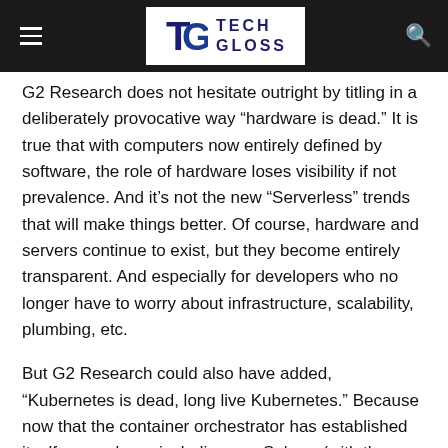TECH GLOSS
G2 Research does not hesitate outright by titling in a deliberately provocative way “hardware is dead.” It is true that with computers now entirely defined by software, the role of hardware loses visibility if not prevalence. And it’s not the new “Serverless” trends that will make things better. Of course, hardware and servers continue to exist, but they become entirely transparent. And especially for developers who no longer have to worry about infrastructure, scalability, plumbing, etc.
But G2 Research could also have added, “Kubernetes is dead, long live Kubernetes.” Because now that the container orchestrator has established itself everywhere, including on vSphere (with the Pacific project), the sinews of war will be played elsewhere, or rather above. Developers don’t want to worry about Kubernetes clusters anymore.